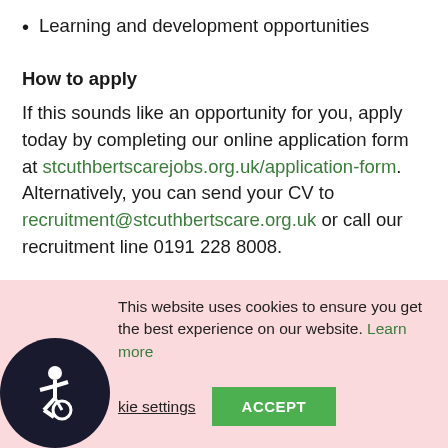Learning and development opportunities
How to apply
If this sounds like an opportunity for you, apply today by completing our online application form at stcuthbertscarejobs.org.uk/application-form. Alternatively, you can send your CV to recruitment@stcuthbertscare.org.uk or call our recruitment line 0191 228 8008.
About us
St Catherine's Nursing Home, part of St Cuthbert's Care,
This website uses cookies to ensure you get the best experience on our website. Learn more
Cookie settings   ACCEPT